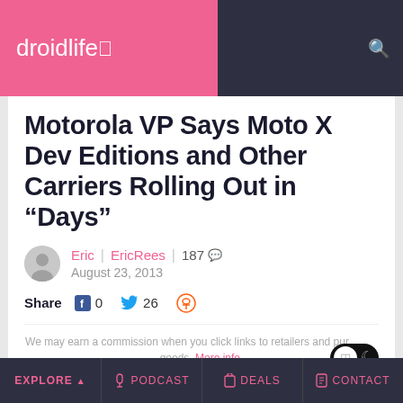droidlife
Motorola VP Says Moto X Dev Editions and Other Carriers Rolling Out in “Days”
Eric | EricRees | 187 comments | August 23, 2013
Share 0 26
We may earn a commission when you click links to retailers and purchase goods. More info.
Explore | Podcast | Deals | Contact